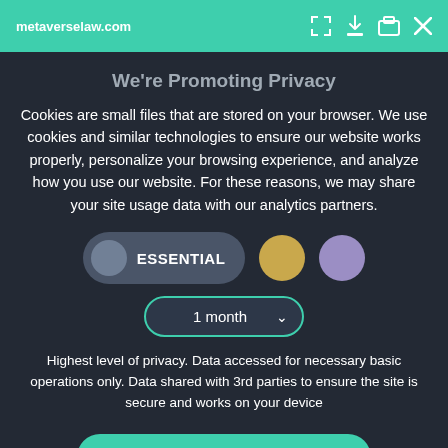metaverselaw.com
We're Promoting Privacy
Cookies are small files that are stored on your browser. We use cookies and similar technologies to ensure our website works properly, personalize your browsing experience, and analyze how you use our website. For these reasons, we may share your site usage data with our analytics partners.
[Figure (screenshot): Cookie consent controls: ESSENTIAL toggle button (grey), gold circle button, purple circle button, and a '1 month' dropdown selector]
Highest level of privacy. Data accessed for necessary basic operations only. Data shared with 3rd parties to ensure the site is secure and works on your device
Save my preferences